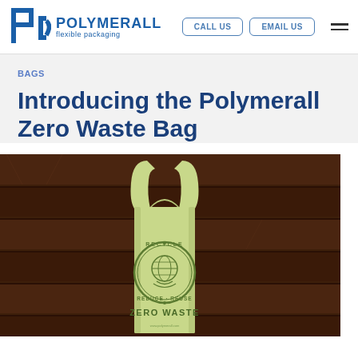POLYMERALL flexible packaging | CALL US | EMAIL US
BAGS
Introducing the Polymerall Zero Waste Bag
[Figure (photo): A light green reusable T-shirt style bag with a circular 'Recycle · Reduce · Reuse' logo featuring a globe and hands graphic, and text 'ZERO WASTE' below, laid flat on a dark wood plank surface.]